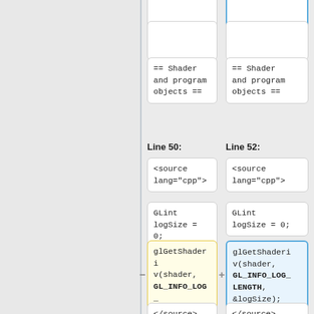== Shader and program objects ==
== Shader and program objects ==
Line 50:
Line 52:
<source lang="cpp">
<source lang="cpp">
GLint logSize = 0;
GLint logSize = 0;
glGetShaderiv(shader, GL_INFO_LOG_LENGTH, &logSize);
glGetShaderiv(shader, GL_INFO_LOG_LENGTH, &logSize);
</source>
</source>